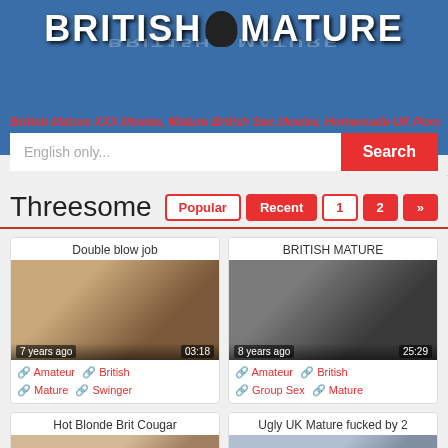[Figure (logo): British Mature website logo with stylized text on blue background]
British Mature XXX Movies, Mature British Sex Movies, Homemade UK Porn
English only... [Search button]
Threesome
Popular | Recent | 1 | 2 | »
[Figure (photo): Video thumbnail: Double blow job, 7 years ago, duration 03:18]
Double blow job
🔗 Amateur 🔗 British 🔗 Mature 🔗 Swinger
[Figure (photo): Video thumbnail: BRITISH MATURE, 8 years ago, duration 25:29]
BRITISH MATURE
🔗 Amateur 🔗 British 🔗 Group Sex 🔗 Mature
[Figure (photo): Video thumbnail: Hot Blonde Brit Cougar]
Hot Blonde Brit Cougar
[Figure (photo): Video thumbnail: Ugly UK Mature fucked by 2]
Ugly UK Mature fucked by 2